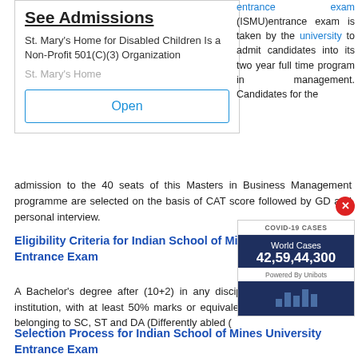See Admissions
St. Mary's Home for Disabled Children Is a Non-Profit 501(C)(3) Organization
St. Mary's Home
Open
entrance exam (ISMU)entrance exam is taken by the university to admit candidates into its two year full time program in management. Candidates for the admission to the 40 seats of this Masters in Business Management programme are selected on the basis of CAT score followed by GD and personal interview.
Eligibility Criteria for Indian School of Mines University Entrance Exam
A Bachelor's degree after (10+2) in any discipline from a recognized institution, with at least 50% marks or equivalent CGPA, of candidates belonging to SC, ST and DA (Differently abled (
Selection Process for Indian School of Mines University Entrance Exam
[Figure (infographic): COVID-19 Cases widget showing World Cases 42,59,44,300, Powered By Unibots, with a dark blue background and a bar chart icon at the bottom]